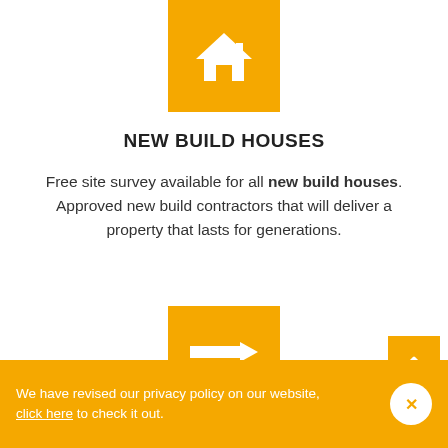[Figure (illustration): Yellow square icon with a white house/home symbol]
NEW BUILD HOUSES
Free site survey available for all new build houses. Approved new build contractors that will deliver a property that lasts for generations.
[Figure (illustration): Yellow square icon with two horizontal arrows pointing in opposite directions (left and right)]
CONVERSIONS
We have revised our privacy policy on our website, click here to check it out.